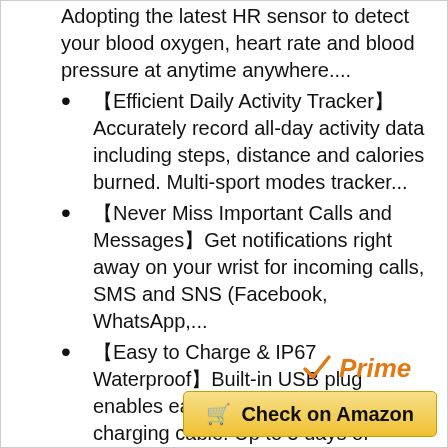Adopting the latest HR sensor to detect your blood oxygen, heart rate and blood pressure at anytime anywhere....
【Efficient Daily Activity Tracker】Accurately record all-day activity data including steps, distance and calories burned. Multi-sport modes tracker...
【Never Miss Important Calls and Messages】Get notifications right away on your wrist for incoming calls, SMS and SNS (Facebook, WhatsApp,...
【Easy to Charge & IP67 Waterproof】Built-in USB plug enables easy charging without charging cable. Up to 5 days of battery life once fully charged....
[Figure (logo): Amazon Prime logo with orange checkmark and italic Prime text]
Check on Amazon